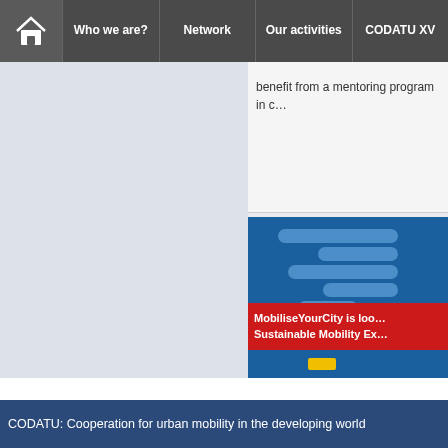Who we are? | Network | Our activities | CODATU XV
benefit from a mentoring program in c…
[Figure (illustration): MobiliseYourCity banner with blue decorative shapes and red overlay text reading 'MobiliseYourCity is loo… Sustainable Mobility Ex…']
CODATU: Cooperation for urban mobility in the developing world